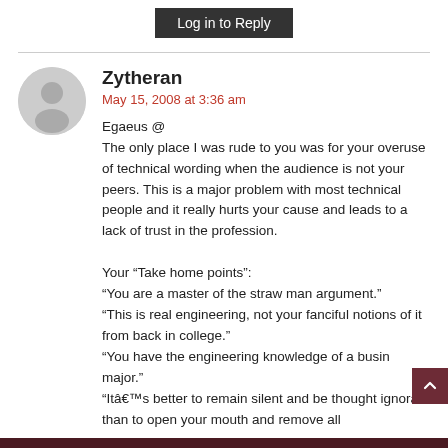Log in to Reply
Zytheran
May 15, 2008 at 3:36 am
Egaeus @
The only place I was rude to you was for your overuse of technical wording when the audience is not your peers. This is a major problem with most technical people and it really hurts your cause and leads to a lack of trust in the profession.

Your “Take home points”:
“You are a master of the straw man argument.”
“This is real engineering, not your fanciful notions of it from back in college.”
“You have the engineering knowledge of a busin major.”
“Itâs better to remain silent and be thought ignorant than to open your mouth and remove all